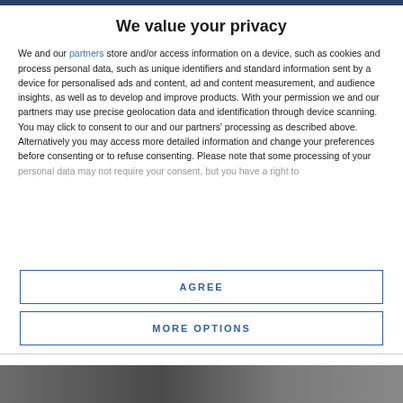We value your privacy
We and our partners store and/or access information on a device, such as cookies and process personal data, such as unique identifiers and standard information sent by a device for personalised ads and content, ad and content measurement, and audience insights, as well as to develop and improve products. With your permission we and our partners may use precise geolocation data and identification through device scanning. You may click to consent to our and our partners' processing as described above. Alternatively you may access more detailed information and change your preferences before consenting or to refuse consenting. Please note that some processing of your personal data may not require your consent, but you have a right to
AGREE
MORE OPTIONS
[Figure (photo): Bottom portion showing a dark photograph partially visible]